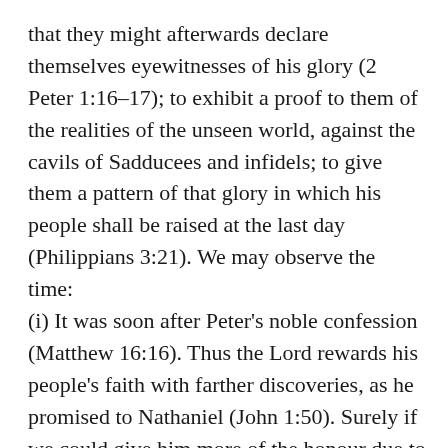that they might afterwards declare themselves eyewitnesses of his glory (2 Peter 1:16–17); to exhibit a proof to them of the realities of the unseen world, against the cavils of Sadducees and infidels; to give them a pattern of that glory in which his people shall be raised at the last day (Philippians 3:21). We may observe the time: (i) It was soon after Peter's noble confession (Matthew 16:16). Thus the Lord rewards his people's faith with farther discoveries, as he promised to Nathaniel (John 1:50). Surely if we could give him more of the honour due to his name, by steadfast believing, he would show us more of his glory. Let us pray for more faith, that we may have more comfort. (ii) It was soon after he had so expressly spoken